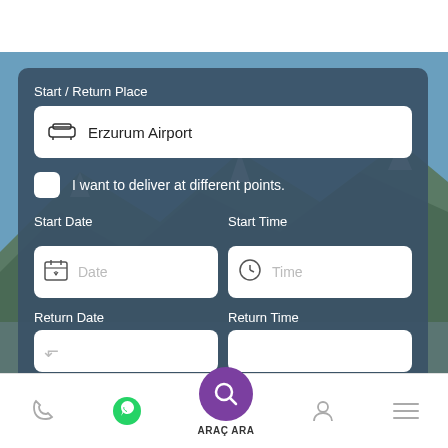[Figure (screenshot): Mobile app UI screenshot showing a car rental search form with fields for Start/Return Place (Erzurum Airport), a checkbox for different delivery points, Start Date/Time fields, Return Date/Time fields, and a bottom navigation bar with phone, WhatsApp, search (ARAÇ ARA), profile, and menu icons.]
Start / Return Place
Erzurum Airport
I want to deliver at different points.
Start Date
Start Time
Date
Time
Return Date
Return Time
ARAÇ ARA